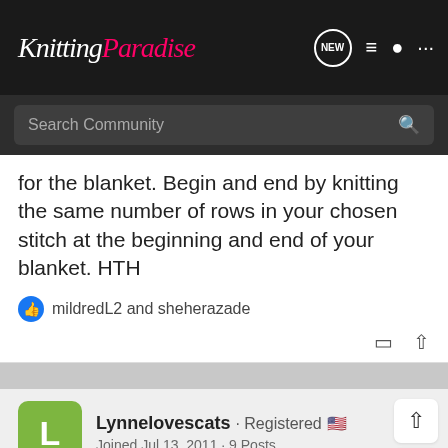Knitting Paradise
Search Community
for the blanket. Begin and end by knitting the same number of rows in your chosen stitch at the beginning and end of your blanket. HTH
mildredL2 and sheherazade
Lynnelovescats · Registered 🇺🇸
Joined Jul 13, 2011 · 9 Posts
Discussion Starter · #9 · Jun 23, 2022
leftyknitter21 said: